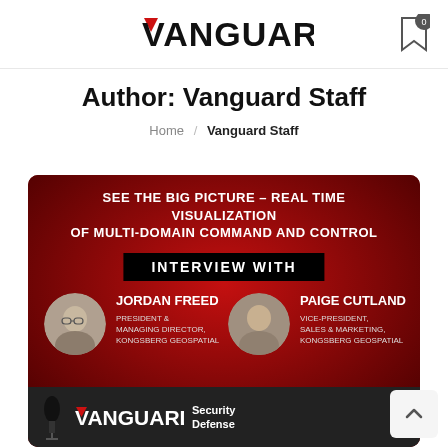VANGUARD
Author: Vanguard Staff
Home / Vanguard Staff
[Figure (illustration): Promotional interview card on red/dark background. Headline: SEE THE BIG PICTURE - REAL TIME VISUALIZATION OF MULTI-DOMAIN COMMAND AND CONTROL. INTERVIEW WITH Jordan Freed, President & Managing Director, Kongsberg Geospatial and Paige Cutland, Vice-President, Sales & Marketing, Kongsberg Geospatial. Bottom strip shows Vanguard Security Defense logo.]